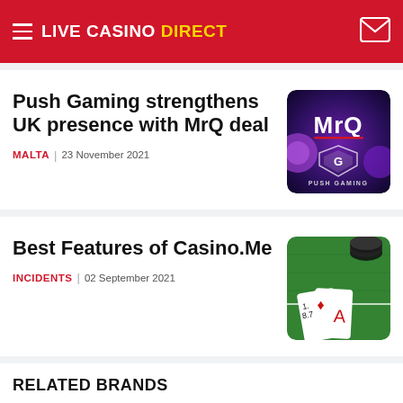LIVE CASINO DIRECT
Push Gaming strengthens UK presence with MrQ deal
MALTA | 23 November 2021
[Figure (photo): MrQ and Push Gaming logo on dark purple background with glowing orbs]
Best Features of Casino.Me
INCIDENTS | 02 September 2021
[Figure (photo): Casino chips and playing cards on green felt table]
RELATED BRANDS